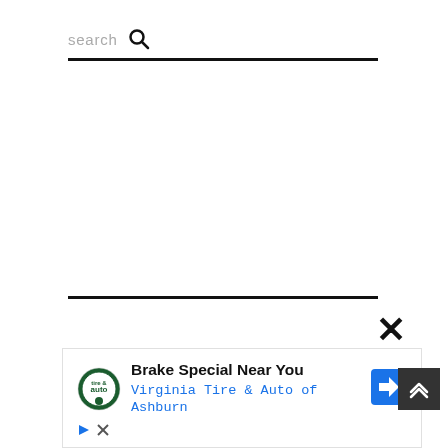search 🔍
[Figure (screenshot): A web page UI screenshot showing a search bar with the text 'search' and a magnifying glass icon, a horizontal rule below it, a large empty white content area, another horizontal rule, a large close (X) button, an advertisement panel for 'Brake Special Near You - Virginia Tire & Auto of Ashburn' with a Tire & Auto logo and a blue direction arrow icon, small play and close icons below the ad, and a dark scroll-to-top button with double chevrons on the right side.]
Brake Special Near You
Virginia Tire & Auto of Ashburn